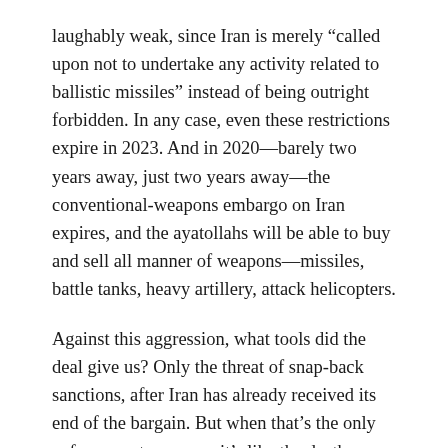laughably weak, since Iran is merely “called upon not to undertake any activity related to ballistic missiles” instead of being outright forbidden. In any case, even these restrictions expire in 2023. And in 2020—barely two years away, just two years away—the conventional-weapons embargo on Iran expires, and the ayatollahs will be able to buy and sell all manner of weapons—missiles, battle tanks, heavy artillery, attack helicopters.
Against this aggression, what tools did the deal give us? Only the threat of snap-back sanctions, after Iran has already received its end of the bargain. But when that’s the only enforcement measure, it’s like the death penalty being the only sentence for all crimes,